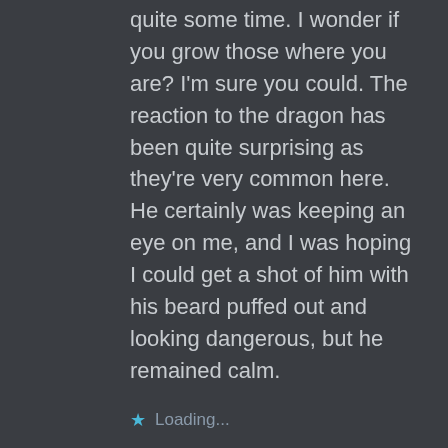quite some time. I wonder if you grow those where you are? I'm sure you could. The reaction to the dragon has been quite surprising as they're very common here. He certainly was keeping an eye on me, and I was hoping I could get a shot of him with his beard puffed out and looking dangerous, but he remained calm.
Loading...
@CAVERSHAMJJ says:
December 3, 2018 at 4:37 am
Hello Jane, I love those echi doodahs,